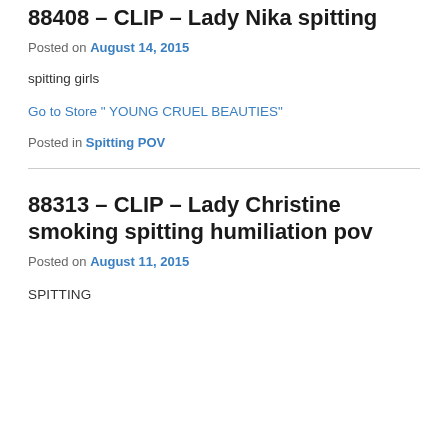88408 – CLIP – Lady Nika spitting
Posted on August 14, 2015
spitting girls
Go to Store " YOUNG CRUEL BEAUTIES"
Posted in Spitting POV
88313 – CLIP – Lady Christine smoking spitting humiliation pov
Posted on August 11, 2015
SPITTING